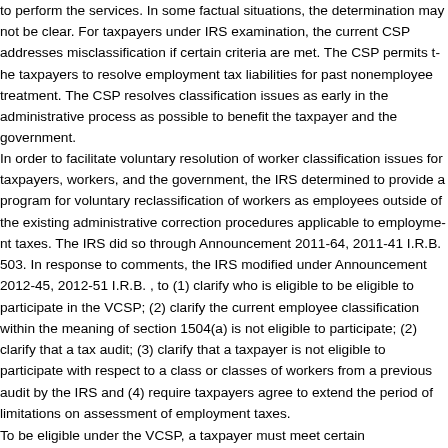to perform the services. In some factual situations, the determination may not be clear. For taxpayers under IRS examination, the current CSP addresses misclassification if certain criteria are met. The CSP permits taxpayers to resolve employment tax liabilities for past nonemployee treatment. The CSP resolves classification issues as early in the administrative process as possible to benefit both the taxpayer and the government.
In order to facilitate voluntary resolution of worker classification issues for taxpayers, workers, and the government, the IRS determined to provide a program for voluntary reclassification of workers as employees outside of the existing administrative correction procedures applicable to employment taxes. The IRS did so through Announcement 2011-64, 2011-41 I.R.B. 503. In response to comments, the IRS modified under Announcement 2012-45, 2012-51 I.R.B. , to (1) clarify who is eligible to be eligible to participate in the VCSP; (2) clarify the current employee classification within the meaning of section 1504(a) is not eligible to participate; (2) clarify that a tax audit; (3) clarify that a taxpayer is not eligible to participate with respect to a class or classes of workers from a previous audit by the IRS and (4) require taxpayers agree to extend the period of limitations on assessment of employment taxes.
To be eligible under the VCSP, a taxpayer must meet certain